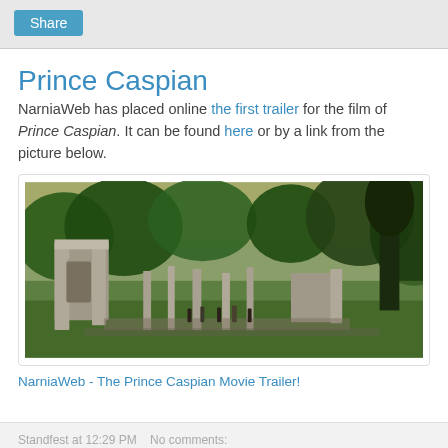Share
Prince Caspian
NarniaWeb has placed online the first trailer for the film of Prince Caspian. It can be found here or by a link from the picture below.
[Figure (photo): A still from the Prince Caspian film showing ancient stone ruins in a green landscape with trees and small figures of people standing among the ruins.]
NarniaWeb - The Prince Caspian Movie Trailer!
Standfest at 12:29 PM   No comments: